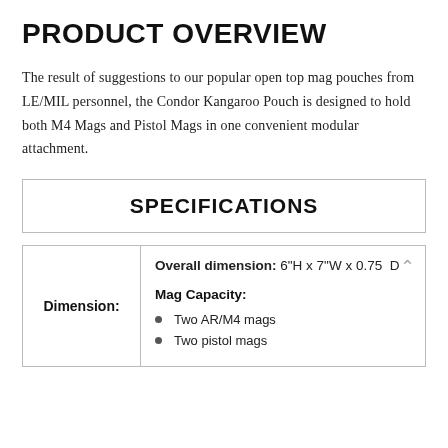PRODUCT OVERVIEW
The result of suggestions to our popular open top mag pouches from LE/MIL personnel, the Condor Kangaroo Pouch is designed to hold both M4 Mags and Pistol Mags in one convenient modular attachment.
SPECIFICATIONS
| Dimension: | Details |
| --- | --- |
| Dimension: | Overall dimension: 6"H x 7"W x 0.75  D
Mag Capacity:
• Two AR/M4 mags
• Two pistol mags |